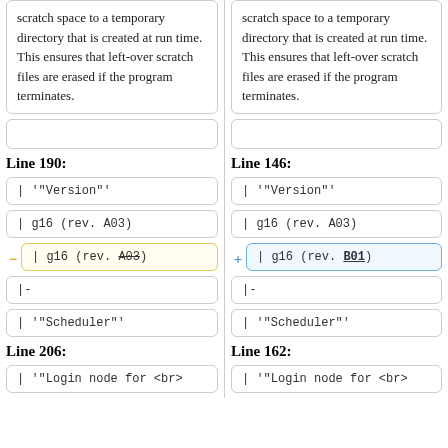scratch space to a temporary directory that is created at run time. This ensures that left-over scratch files are erased if the program terminates.
scratch space to a temporary directory that is created at run time. This ensures that left-over scratch files are erased if the program terminates.
Line 190:
Line 146:
| '"Version"'
| '"Version"'
| g16 (rev. A03)
| g16 (rev. A03)
| g16 (rev. A03)
| g16 (rev. B01)
|-
|-
| '"Scheduler"'
| '"Scheduler"'
Line 206:
Line 162:
| '"Login node for <br>
| '"Login node for <br>